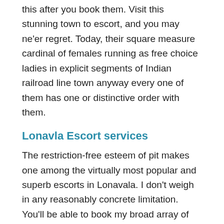this after you book them. Visit this stunning town to escort, and you may ne'er regret. Today, their square measure cardinal of females running as free choice ladies in explicit segments of Indian railroad line town anyway every one of them has one or distinctive order with them.
Lonavla Escort services
The restriction-free esteem of pit makes one among the virtually most popular and superb escorts in Lonavala. I don't weigh in any reasonably concrete limitation. You'll be able to book my broad array of unmatchable services at a spunky fee in divergent components of different native cities together with Lonavala escort service and a lot of. The great customized